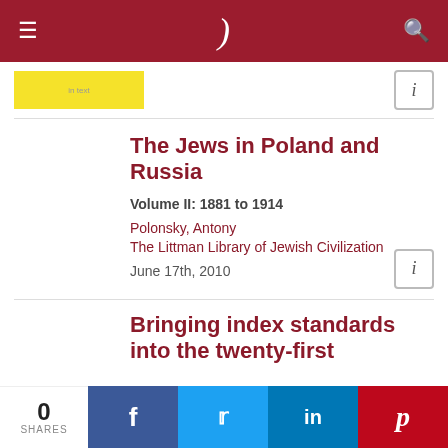☰  )  🔍
[Figure (other): Yellow advertisement block with small text 'in text']
The Jews in Poland and Russia
Volume II: 1881 to 1914
Polonsky, Antony
The Littman Library of Jewish Civilization
June 17th, 2010
Bringing index standards into the twenty-first
0 SHARES  f  t  in  P